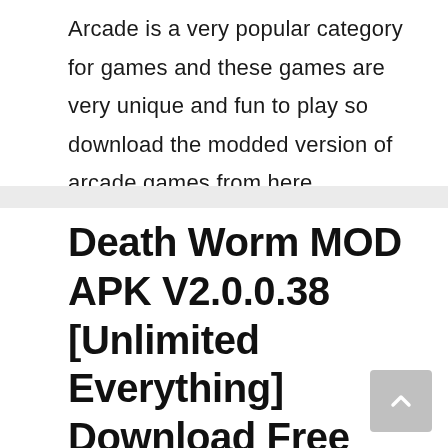Arcade is a very popular category for games and these games are very unique and fun to play so download the modded version of arcade games from here.
Death Worm MOD APK V2.0.0.38 [Unlimited Everything] Download Free